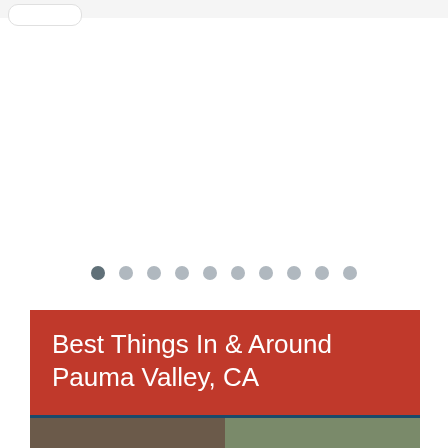[Figure (screenshot): Rounded rectangle UI element at top left, representing a browser or app navigation bar element]
[Figure (infographic): Ten pagination dots in a row; first dot is darker (active), remaining nine are light gray]
Best Things In & Around Pauma Valley, CA
[Figure (photo): Partial photo strip showing indoor/outdoor scene, split into two halves at bottom of page]